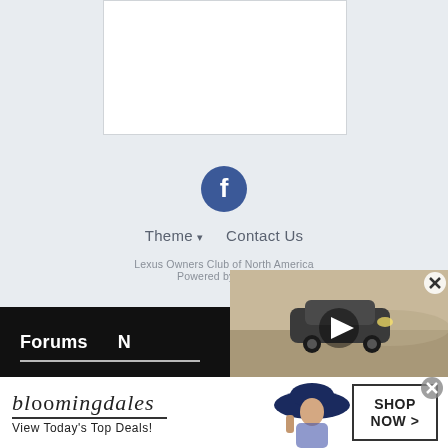[Figure (screenshot): White content card area at top]
[Figure (logo): Facebook circular icon with white 'f' on dark blue background]
Theme ▾  Contact Us
Lexus Owners Club of North America
Powered by Invis...
Forums
[Figure (screenshot): Video overlay showing a Lexus SUV in desert with play button and X close button]
[Figure (photo): Bloomingdales advertisement banner: 'bloomingdales View Today's Top Deals!' with woman in hat and 'SHOP NOW >' button]